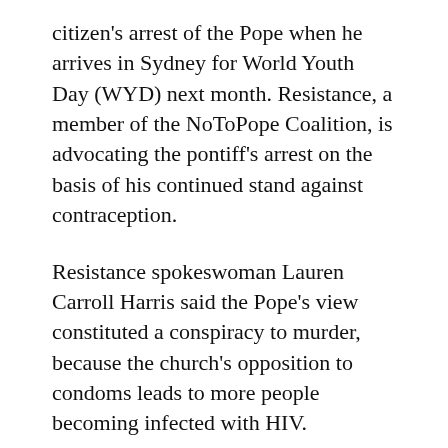citizen's arrest of the Pope when he arrives in Sydney for World Youth Day (WYD) next month. Resistance, a member of the NoToPope Coalition, is advocating the pontiff's arrest on the basis of his continued stand against contraception.
Resistance spokeswoman Lauren Carroll Harris said the Pope's view constituted a conspiracy to murder, because the church's opposition to condoms leads to more people becoming infected with HIV.
Under Australian law, anyone can make a citizens arrest if they believe, on reasonable grounds, a person is committing or has just committed an offence.
“This short-sighted and dogmatic stance towards both contraception use and education has placed